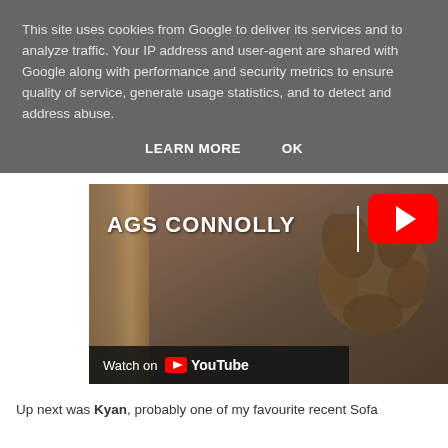This site uses cookies from Google to deliver its services and to analyze traffic. Your IP address and user-agent are shared with Google along with performance and security metrics to ensure quality of service, generate usage statistics, and to detect and address abuse.
LEARN MORE   OK
[Figure (screenshot): YouTube video thumbnail for AGS CONNOLLY with play button overlay and 'Watch on YouTube' bar at bottom left. Background shows a blurred bookshelf and decorative mask/leaf element.]
Up next was Kyan, probably one of my favourite recent Sofa